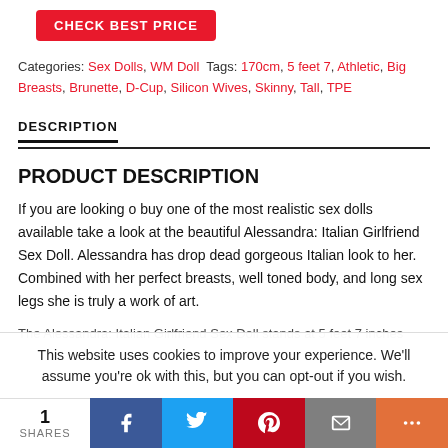[Figure (other): Red 'CHECK BEST PRICE' button (partially visible at top)]
Categories: Sex Dolls, WM Doll Tags: 170cm, 5 feet 7, Athletic, Big Breasts, Brunette, D-Cup, Silicon Wives, Skinny, Tall, TPE
DESCRIPTION
PRODUCT DESCRIPTION
If you are looking o buy one of the most realistic sex dolls available take a look at the beautiful Alessandra: Italian Girlfriend Sex Doll. Alessandra has drop dead gorgeous Italian look to her. Combined with her perfect breasts, well toned body, and long sex legs she is truly a work of art.
The Alessandra: Italian Girlfriend Sex Doll stands at 5 feet 7 inches
This website uses cookies to improve your experience. We'll assume you're ok with this, but you can opt-out if you wish.
1 SHARES | Facebook | Twitter | Pinterest | Email | More